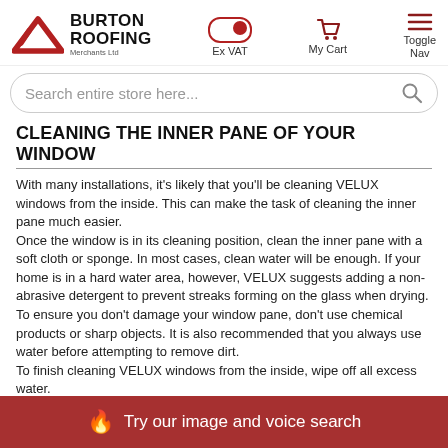BURTON ROOFING Merchants Ltd | Ex VAT | My Cart | Toggle Nav
[Figure (screenshot): Search bar with placeholder text 'Search entire store here...' and a search icon on the right]
CLEANING THE INNER PANE OF YOUR WINDOW
With many installations, it's likely that you'll be cleaning VELUX windows from the inside. This can make the task of cleaning the inner pane much easier.
Once the window is in its cleaning position, clean the inner pane with a soft cloth or sponge. In most cases, clean water will be enough. If your home is in a hard water area, however, VELUX suggests adding a non-abrasive detergent to prevent streaks forming on the glass when drying.
To ensure you don't damage your window pane, don't use chemical products or sharp objects. It is also recommended that you always use water before attempting to remove dirt.
To finish cleaning VELUX windows from the inside, wipe off all excess water.
HOW TO CLEAN THE OUTSIDE OF VELUX WINDOWS
🔥 Try our image and voice search